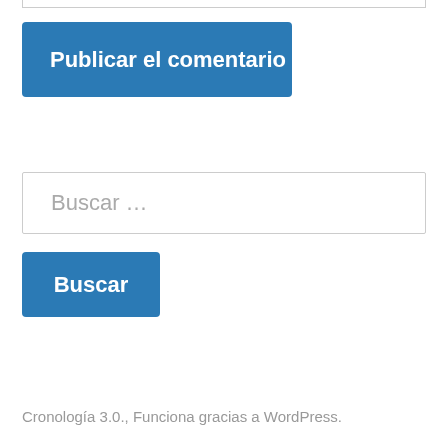[Figure (screenshot): Bottom edge of a text input field (only the bottom border is visible)]
Publicar el comentario
Buscar …
Buscar
Cronología 3.0., Funciona gracias a WordPress.